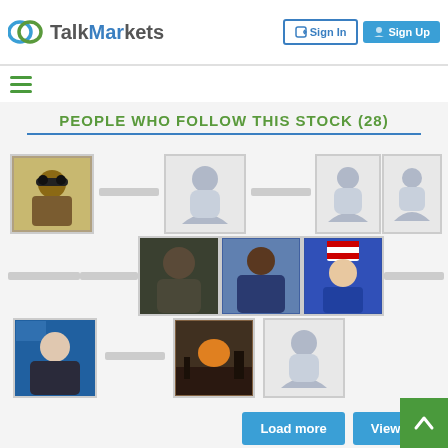TalkMarkets — Sign In | Sign Up
PEOPLE WHO FOLLOW THIS STOCK (28)
[Figure (screenshot): Grid of follower profile pictures/avatars with placeholder name labels below each]
Load more   View All
LATEST POSTS
About This Stock   More About This Stock